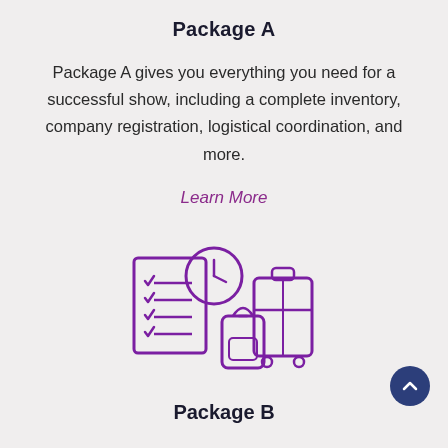Package A
Package A gives you everything you need for a successful show, including a complete inventory, company registration, logistical coordination, and more.
Learn More
[Figure (illustration): Icon illustration showing a checklist with checkmarks, a clock, a backpack, and a rolling suitcase, all in purple outline style.]
Package B